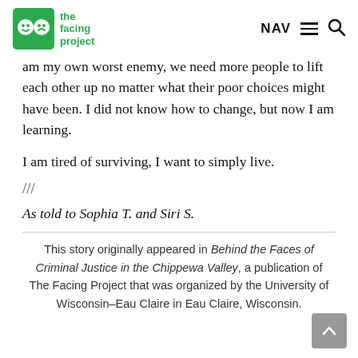the facing project | NAV ☰ 🔍
am my own worst enemy, we need more people to lift each other up no matter what their poor choices might have been. I did not know how to change, but now I am learning.
I am tired of surviving, I want to simply live.
///
As told to Sophia T. and Siri S.
This story originally appeared in Behind the Faces of Criminal Justice in the Chippewa Valley, a publication of The Facing Project that was organized by the University of Wisconsin–Eau Claire in Eau Claire, Wisconsin.